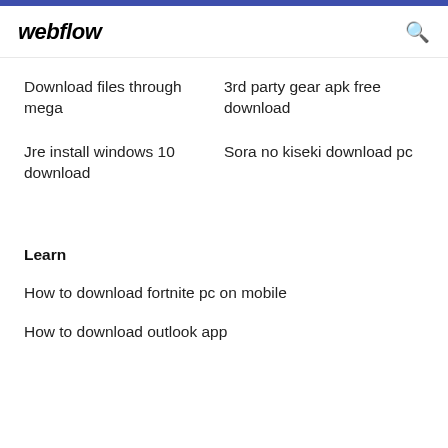webflow
Download files through mega
3rd party gear apk free download
Jre install windows 10 download
Sora no kiseki download pc
Learn
How to download fortnite pc on mobile
How to download outlook app